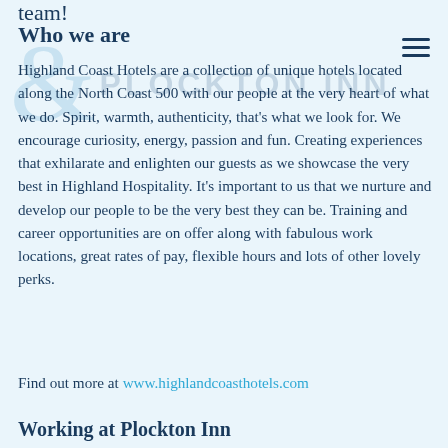team!
Who we are
Highland Coast Hotels are a collection of unique hotels located along the North Coast 500 with our people at the very heart of what we do. Spirit, warmth, authenticity, that's what we look for. We encourage curiosity, energy, passion and fun. Creating experiences that exhilarate and enlighten our guests as we showcase the very best in Highland Hospitality. It's important to us that we nurture and develop our people to be the very best they can be. Training and career opportunities are on offer along with fabulous work locations, great rates of pay, flexible hours and lots of other lovely perks.
Find out more at www.highlandcoasthotels.com
Working at Plockton Inn